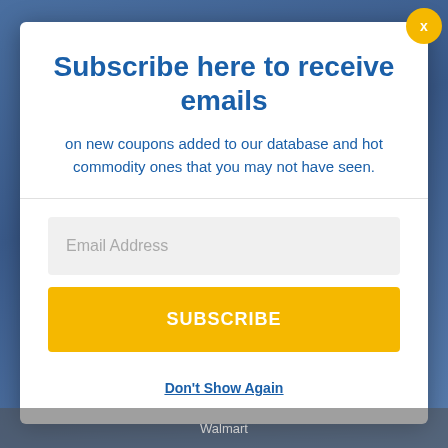Subscribe here to receive emails
on new coupons added to our database and hot commodity ones that you may not have seen.
Email Address
SUBSCRIBE
Don't Show Again
Walmart